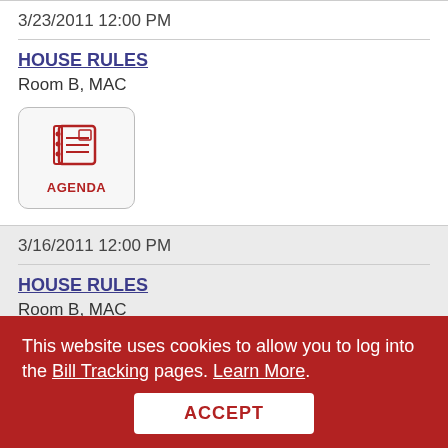3/23/2011 12:00 PM
HOUSE RULES
Room B, MAC
[Figure (other): Agenda icon button with a notebook/document icon and label AGENDA]
3/16/2011 12:00 PM
HOUSE RULES
Room B, MAC
[Figure (other): Agenda icon button partially visible]
This website uses cookies to allow you to log into the Bill Tracking pages. Learn More.
ACCEPT